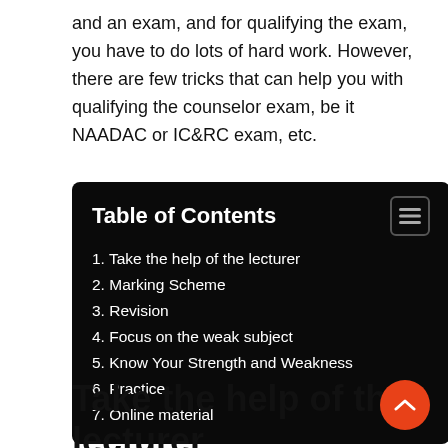and an exam, and for qualifying the exam, you have to do lots of hard work. However, there are few tricks that can help you with qualifying the counselor exam, be it NAADAC or IC&RC exam, etc.
| Table of Contents |
| --- |
| 1. Take the help of the lecturer |
| 2. Marking Scheme |
| 3. Revision |
| 4. Focus on the weak subject |
| 5. Know Your Strength and Weakness |
| 6. Practice |
| 7. Online material |
Take the help of the lecturer